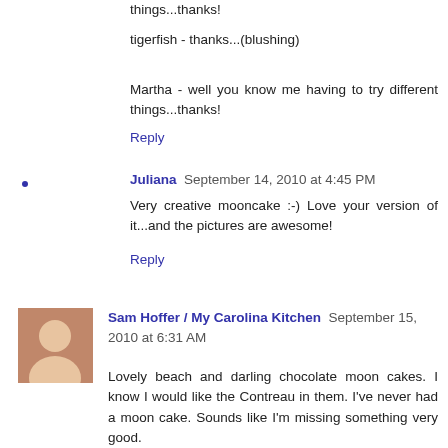things...thanks!
tigerfish - thanks...(blushing)
Martha - well you know me having to try different things...thanks!
Reply
Juliana  September 14, 2010 at 4:45 PM
Very creative mooncake :-) Love your version of it...and the pictures are awesome!
Reply
Sam Hoffer / My Carolina Kitchen  September 15, 2010 at 6:31 AM
Lovely beach and darling chocolate moon cakes. I know I would like the Contreau in them. I've never had a moon cake. Sounds like I'm missing something very good.
Sam